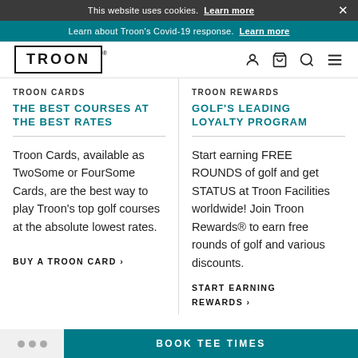This website uses cookies. Learn more
Learn about Troon's Covid-19 response. Learn more
TROON
TROON CARDS
TROON REWARDS
THE BEST COURSES AT THE BEST RATES
GOLF'S LEADING LOYALTY PROGRAM
Troon Cards, available as TwoSome or FourSome Cards, are the best way to play Troon's top golf courses at the absolute lowest rates.
Start earning FREE ROUNDS of golf and get STATUS at Troon Facilities worldwide! Join Troon Rewards® to earn free rounds of golf and various discounts.
BUY A TROON CARD ›
START EARNING REWARDS ›
BOOK TEE TIMES